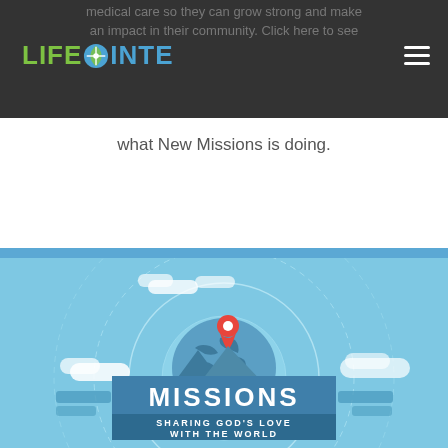LIFEPOINTE
medical care so they can grow strong and make an impact in their community. Click here to see what New Missions is doing.
[Figure (infographic): Missions infographic showing a globe with location pin, clouds, and text reading MISSIONS SHARING GOD'S LOVE WITH THE WORLD on a blue background with concentric circle design]